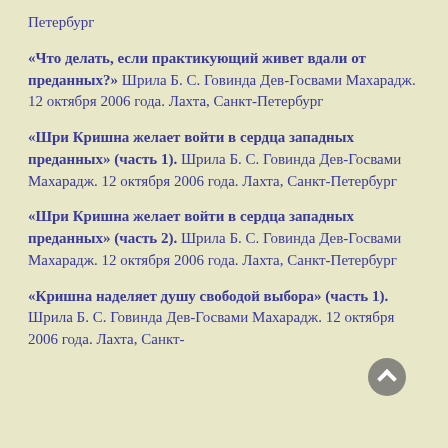Петербург
«Что делать, если практикующий живет вдали от преданных?» Шрила Б. С. Говинда Дев-Госвами Махарадж. 12 октября 2006 года. Лахта, Санкт-Петербург
«Шри Кришна желает войти в сердца западных преданных» (часть 1). Шрила Б. С. Говинда Дев-Госвами Махарадж. 12 октября 2006 года. Лахта, Санкт-Петербург
«Шри Кришна желает войти в сердца западных преданных» (часть 2). Шрила Б. С. Говинда Дев-Госвами Махарадж. 12 октября 2006 года. Лахта, Санкт-Петербург
«Кришна наделяет душу свободой выбора» (часть 1). Шрила Б. С. Говинда Дев-Госвами Махарадж. 12 октября 2006 года. Лахта, Санкт-